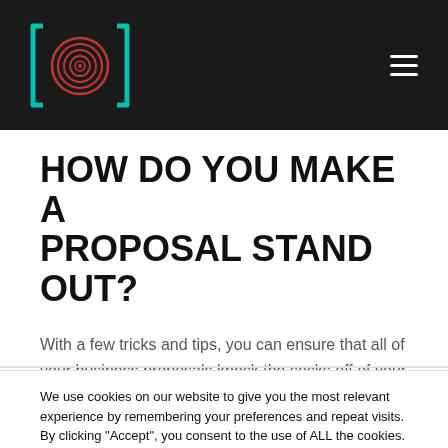[Logo] [Hamburger menu]
HOW DO YOU MAKE A PROPOSAL STAND OUT?
With a few tricks and tips, you can ensure that all of your business proposals knock the socks off of your soon-to-be customers!
We use cookies on our website to give you the most relevant experience by remembering your preferences and repeat visits. By clicking “Accept”, you consent to the use of ALL the cookies. Do not sell my personal information.